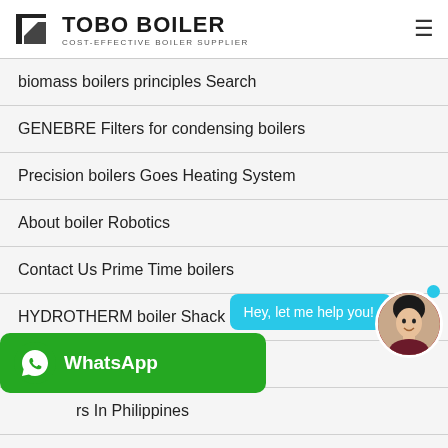TOBO BOILER - COST-EFFECTIVE BOILER SUPPLIER
biomass boilers principles Search
GENEBRE Filters for condensing boilers
Precision boilers Goes Heating System
About boiler Robotics
Contact Us Prime Time boilers
HYDROTHERM boiler Shack
NextGen Hydronic boiler eBay
…rs In Philippines
boiler servicing Archives TateOil